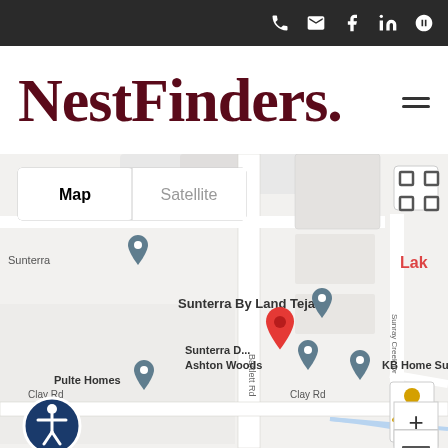NestFinders. [phone] [email] [facebook] [linkedin] [yelp] [menu]
[Figure (map): Google Maps view showing Sunterra subdivision area in Katy TX with map pins for Sunterra By Land Tejas, Sunterra by Ashton Woods, KB Home Sunterra, Pulte Homes, and a red selected location pin. Map/Satellite toggle buttons visible, zoom controls bottom right, accessibility button bottom left. Roads include Bartlett Rd, Clay Rd, Solana Point, Sunray Creek Dr.]